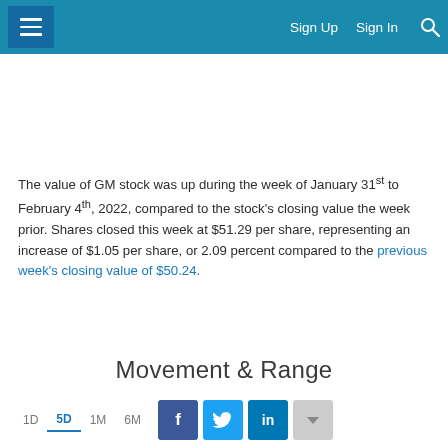≡  Sign Up  Sign In  🔍
The value of GM stock was up during the week of January 31st to February 4th, 2022, compared to the stock's closing value the week prior. Shares closed this week at $51.29 per share, representing an increase of $1.05 per share, or 2.09 percent compared to the previous week's closing value of $50.24.
Movement & Range